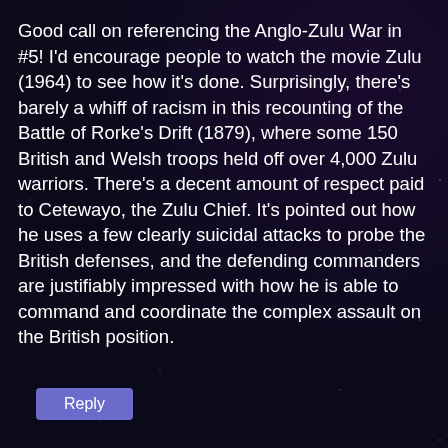Good call on referencing the Anglo-Zulu War in #5! I'd encourage people to watch the movie Zulu (1964) to see how it's done. Surprisingly, there's barely a whiff of racism in this recounting of the Battle of Rorke's Drift (1879), where some 150 British and Welsh troops held off over 4,000 Zulu warriors. There's a decent amount of respect paid to Cetewayo, the Zulu Chief. It's pointed out how he uses a few clearly suicidal attacks to probe the British defenses, and the defending commanders are justifiably impressed with how he is able to command and coordinate the complex assault on the British position.
Reply